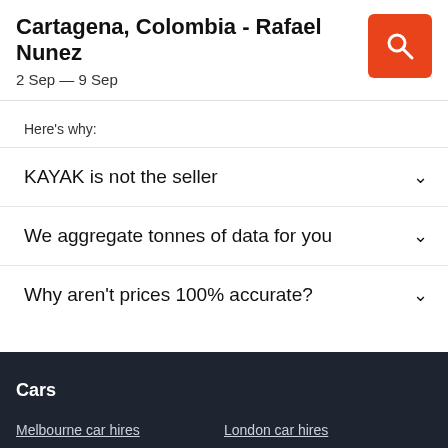Cartagena, Colombia - Rafael Nunez
2 Sep — 9 Sep
Here's why:
KAYAK is not the seller
We aggregate tonnes of data for you
Why aren't prices 100% accurate?
Cars
Melbourne car hires
London car hires
Sydney car hires
Queenstown car hires
Brisbane car hires
San Francisco car hires
Auckland car hires
Christchurch car hires
Los Angeles car hires
Vancouver car hires